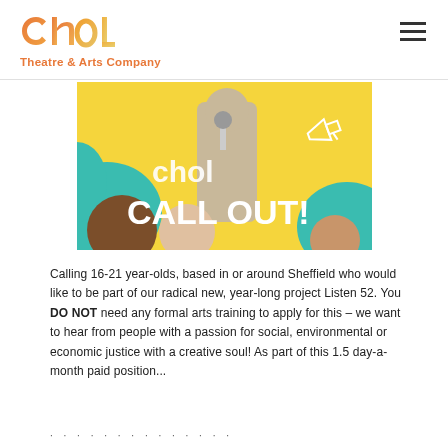chol Theatre & Arts Company
[Figure (photo): Promotional image for Chol Theatre Call Out event showing young people with microphone against yellow and teal background with 'chol CALL OUT!' text overlay]
Calling 16-21 year-olds, based in or around Sheffield who would like to be part of our radical new, year-long project Listen 52. You DO NOT need any formal arts training to apply for this – we want to hear from people with a passion for social, environmental or economic justice with a creative soul! As part of this 1.5 day-a-month paid position...
· · · · · · · · · · · · · ·